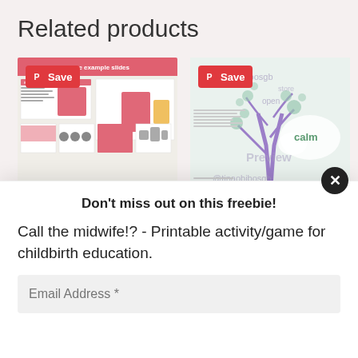Related products
[Figure (screenshot): Two product thumbnail images side by side. Left: A slide deck preview with pink header labeled 'some example slides' showing various teaching slides. Right: A mind-map style worksheet with tree/cloud illustration and watermark text.]
Don’t miss out on this freebie!
Call the midwife!? - Printable activity/game for childbirth education.